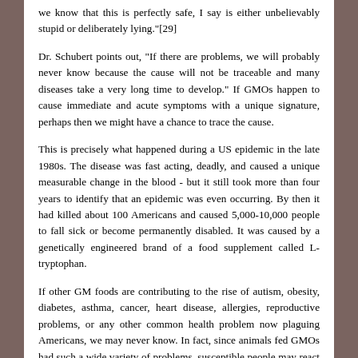we know that this is perfectly safe, I say is either unbelievably stupid or deliberately lying."[29]
Dr. Schubert points out, "If there are problems, we will probably never know because the cause will not be traceable and many diseases take a very long time to develop." If GMOs happen to cause immediate and acute symptoms with a unique signature, perhaps then we might have a chance to trace the cause.
This is precisely what happened during a US epidemic in the late 1980s. The disease was fast acting, deadly, and caused a unique measurable change in the blood - but it still took more than four years to identify that an epidemic was even occurring. By then it had killed about 100 Americans and caused 5,000-10,000 people to fall sick or become permanently disabled. It was caused by a genetically engineered brand of a food supplement called L-tryptophan.
If other GM foods are contributing to the rise of autism, obesity, diabetes, asthma, cancer, heart disease, allergies, reproductive problems, or any other common health problem now plaguing Americans, we may never know. In fact, since animals fed GMOs had such a wide variety of problems, susceptible people may react to GM food with multiple symptoms. It is therefore telling that in the first nine years after the large scale introduction of GM crops in 1996, the incidence of people with three or more chronic